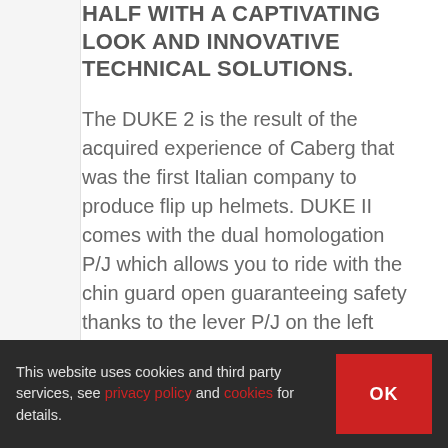HALF WITH A CAPTIVATING LOOK AND INNOVATIVE TECHNICAL SOLUTIONS.
The DUKE 2 is the result of the acquired experience of Caberg that was the first Italian company to produce flip up helmets. DUKE II comes with the dual homologation P/J which allows you to ride with the chin guard open guaranteeing safety thanks to the lever P/J on the left hand side of the helmet. This lever, when in the "J" position, blocks the chin guard in the fully open position, avoiding th...
This website uses cookies and third party services, see privacy policy and cookies for details.